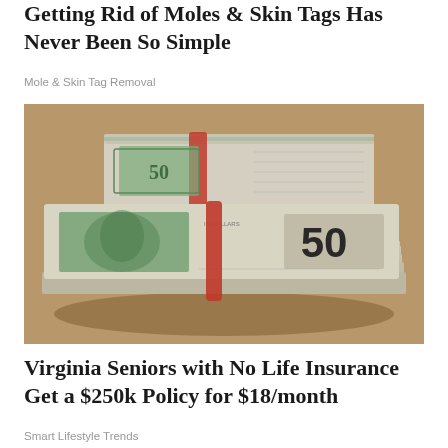Getting Rid of Moles & Skin Tags Has Never Been So Simple
Mole & Skin Tag Removal
[Figure (photo): Stacks of fifty dollar bills bundled with rubber bands on a brown surface, close-up view]
Virginia Seniors with No Life Insurance Get a $250k Policy for $18/month
Smart Lifestyle Trends